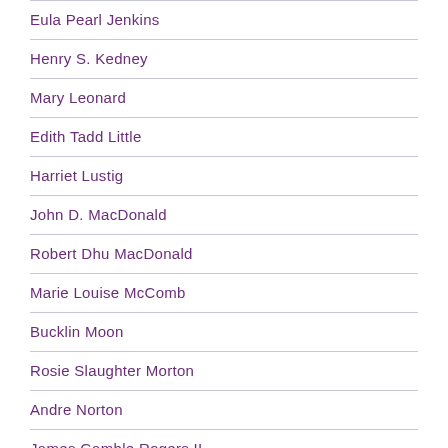Eula Pearl Jenkins
Henry S. Kedney
Mary Leonard
Edith Tadd Little
Harriet Lustig
John D. MacDonald
Robert Dhu MacDonald
Marie Louise McComb
Bucklin Moon
Rosie Slaughter Morton
Andre Norton
James Gamble Rogers II